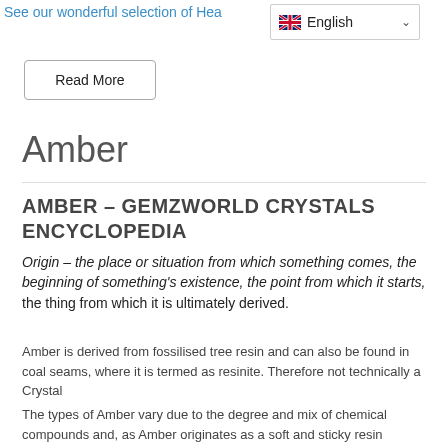See our wonderful selection of Hea
English
Read More
Amber
AMBER – GEMZWORLD CRYSTALS ENCYCLOPEDIA
Origin – the place or situation from which something comes, the beginning of something's existence, the point from which it starts, the thing from which it is ultimately derived.
Amber is derived from fossilised tree resin and can also be found in coal seams, where it is termed as resinite. Therefore not technically a Crystal
The types of Amber vary due to the degree and mix of chemical compounds and, as Amber originates as a soft and sticky resin